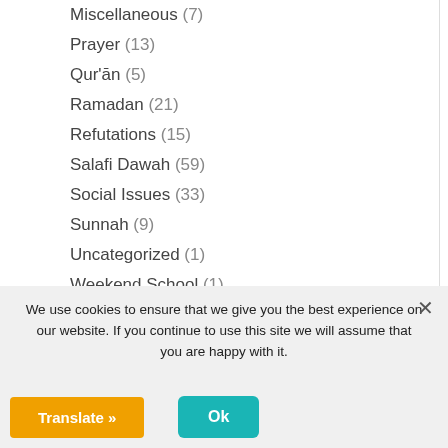Miscellaneous (7)
Prayer (13)
Qur'ān (5)
Ramadan (21)
Refutations (15)
Salafi Dawah (59)
Social Issues (33)
Sunnah (9)
Uncategorized (1)
Weekend School (1)
We use cookies to ensure that we give you the best experience on our website. If you continue to use this site we will assume that you are happy with it.